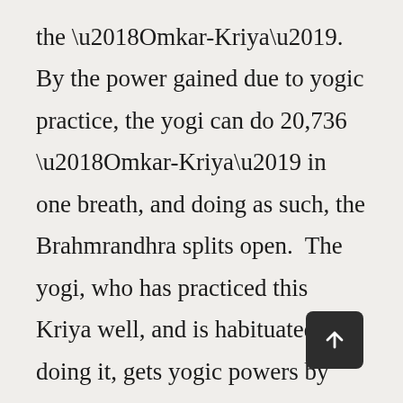the ‘Omkar-Kriya’.  By the power gained due to yogic practice, the yogi can do 20,736 ‘Omkar-Kriya’ in one breath, and doing as such, the Brahmrandhra splits open.  The yogi, who has practiced this Kriya well, and is habituated in doing it, gets yogic powers by which his eye-sight, mind and breath get steady and this disposition speaks of his powers. Then, the sun like illuminated divine person appears-it is the unimaginable.  In this way, by-passing all the darkness, he does not return to this world.  This position of the yogi